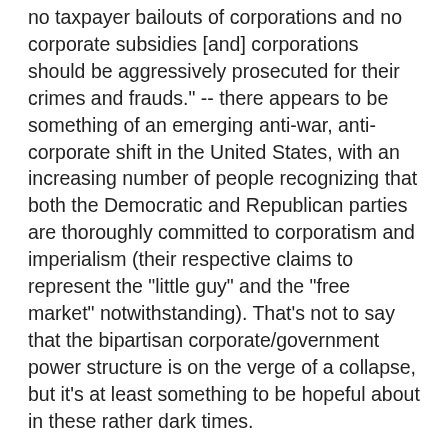no taxpayer bailouts of corporations and no corporate subsidies [and] corporations should be aggressively prosecuted for their crimes and frauds." -- there appears to be something of an emerging anti-war, anti-corporate shift in the United States, with an increasing number of people recognizing that both the Democratic and Republican parties are thoroughly committed to corporatism and imperialism (their respective claims to represent the "little guy" and the "free market" notwithstanding). That's not to say that the bipartisan corporate/government power structure is on the verge of a collapse, but it's at least something to be hopeful about in these rather dark times.
This emerging consensus, though obviously limited to what the likes of the Washington Post's Dana Milbank would dismissively term the "lunatic fringe", is readily apparent, as the Chicago Tribute notes, in the fact that Dennis Kucinich and Ron Paul -- long allies when it comes to fighting the warfare state -- appear to now be making a shared and explicit case against the corporate welfare state. As Kucinich wrote to his supporters last week, echoing Paul's criticism of the Federal Reserve's manipulation of the U.S. economy for